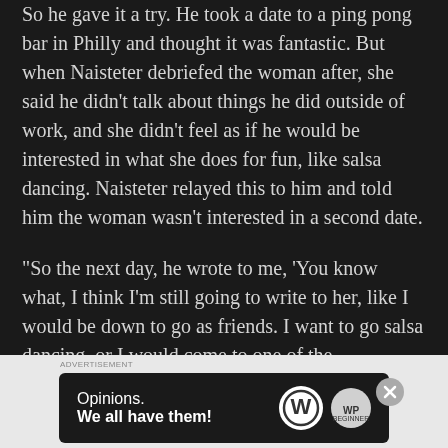So he gave it a try. He took a date to a ping pong bar in Philly and thought it was fantastic. But when Naisteter debriefed the woman after, she said he didn't talk about things he did outside of work, and she didn't feel as if he would be interested in what she does for fun, like salsa dancing. Naisteter relayed this to him and told him the woman wasn't interested in a second date.
“So the next day, he wrote to me, ‘You know what, I think I’m still going to write to her, like I would be down to go as friends. I want to go salsa dancing, or I would come to one of the
[Figure (other): Advertisement banner for WordPress/WPBeginner: 'Opinions. We all have them!' with WordPress logo and WPBeginner logo on dark background]